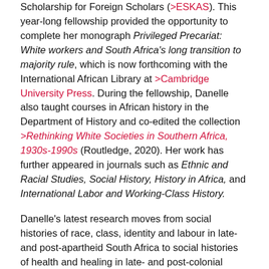Scholarship for Foreign Scholars (>ESKAS). This year-long fellowship provided the opportunity to complete her monograph Privileged Precariat: White workers and South Africa's long transition to majority rule, which is now forthcoming with the International African Library at >Cambridge University Press. During the fellowship, Danelle also taught courses in African history in the Department of History and co-edited the collection >Rethinking White Societies in Southern Africa, 1930s-1990s (Routledge, 2020). Her work has further appeared in journals such as Ethnic and Racial Studies, Social History, History in Africa, and International Labor and Working-Class History.
Danelle's latest research moves from social histories of race, class, identity and labour in late- and post-apartheid South Africa to social histories of health and healing in late- and post-colonial Kenya. This research forms part of the interdisciplinary project >'African Contributions to Global Health – Circulating Knowledge and Innovations', funded by the >Swiss National Research Foundation. Continuing her interest in the experiences and agency of ordinary people, the relations...